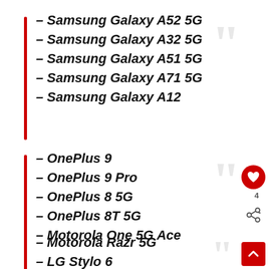– Samsung Galaxy A52 5G
– Samsung Galaxy A32 5G
– Samsung Galaxy A51 5G
– Samsung Galaxy A71 5G
– Samsung Galaxy A12
– OnePlus 9
– OnePlus 9 Pro
– OnePlus 8 5G
– OnePlus 8T 5G
– Motorola One 5G Ace
– Motorola Razr 5G
– LG Stylo 6